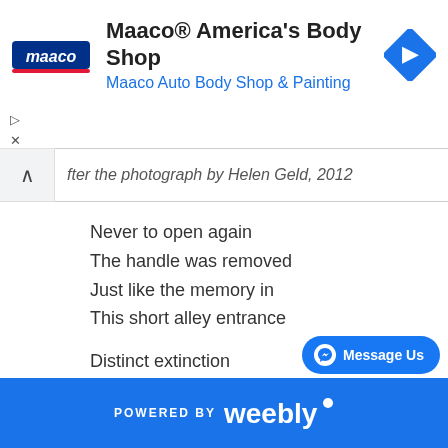[Figure (other): Maaco advertisement banner with logo, title 'Maaco® America's Body Shop', subtitle 'Maaco Auto Body Shop & Painting', and a blue navigation arrow icon]
fter the photograph by Helen Geld, 2012
Never to open again
The handle was removed
Just like the memory in
This short alley entrance
Distinct extinction
For the Ballard tavern
Banished behind lumber as
A backstreet Siberia
With its latitude
Of secrets closed away
[Figure (other): Facebook Messenger 'Message Us' button]
POWERED BY weebly